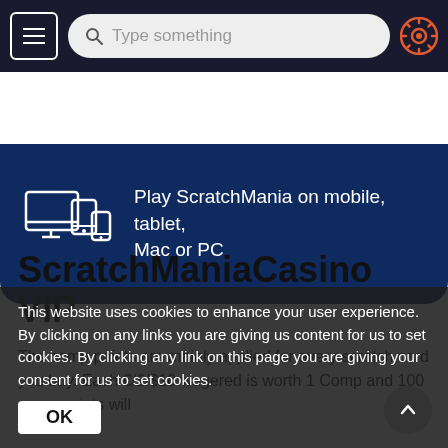[Figure (screenshot): Top navigation bar with hamburger menu button, search bar reading 'Type something', and a settings/gear icon]
[Figure (infographic): Dark blue banner showing device icons (monitor, tablet, phone) with text: Play ScratchMania on mobile, tablet, Mac or PC]
ScratchManiaCasino VIP
The comp points are mainly applied for every scratch card you buy. Each €/£/$10 wagered is worth 1 Comp and 100 comp points will
This website uses cookies to enhance your user experience. By clicking on any links you are giving us content for us to set cookies. By clicking any link on this page you are giving your consent for us to set cookies.
OK